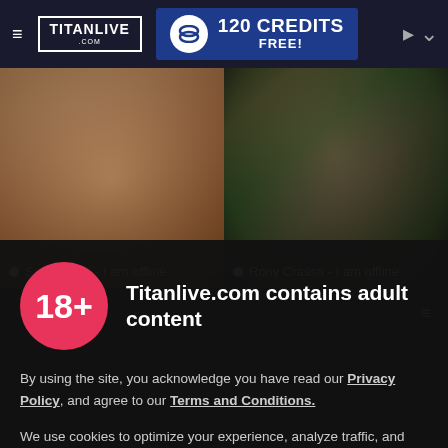TitanLive.com - 120 CREDITS FREE!
[Figure (screenshot): Two live cam performer thumbnails side by side. Left: Santo Davil - I am offline. Right: Rony Crasso - I am offline.]
Santo Davil - I am offline
Rony Crasso - I am offline
Titanlive.com contains adult content
By using the site, you acknowledge you have read our Privacy Policy, and agree to our Terms and Conditions.
We use cookies to optimize your experience, analyze traffic, and deliver more personalized service. To learn more, please see our Privacy Policy.
I AGREE